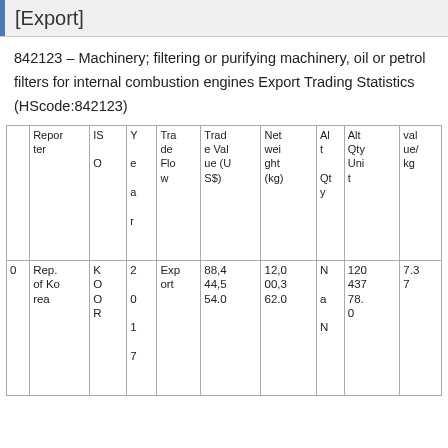[Export]
842123 – Machinery; filtering or purifying machinery, oil or petrol filters for internal combustion engines Export Trading Statistics (HScode:842123)
|  | Reporter | ISO | Year | Trade Flow | Trade Value (US$) | Net weight (kg) | Alt Qty | Alt Qty Unit | value/kg |
| --- | --- | --- | --- | --- | --- | --- | --- | --- | --- |
| 0 | Rep. of Ko rea | K O O R | 2 0 1 7 | Exp ort | 88,4 44,5 54.0 | 12,0 00,3 62.0 | N a N | 120 437 78. 0 | 7.3 7 |